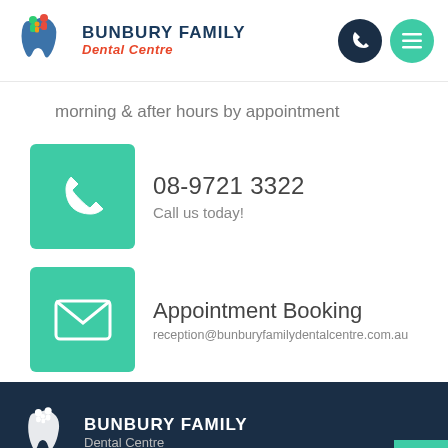[Figure (logo): Bunbury Family Dental Centre logo with tooth icon and nav buttons (phone and menu)]
morning & after hours by appointment
08-9721 3322
Call us today!
Appointment Booking
reception@bunburyfamilydentalcentre.com.au
[Figure (logo): Bunbury Family Dental Centre footer logo in white on dark navy background with scroll-to-top button]